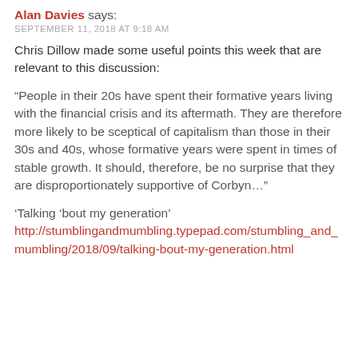Alan Davies says:
SEPTEMBER 11, 2018 AT 9:18 AM
Chris Dillow made some useful points this week that are relevant to this discussion:
“People in their 20s have spent their formative years living with the financial crisis and its aftermath. They are therefore more likely to be sceptical of capitalism than those in their 30s and 40s, whose formative years were spent in times of stable growth. It should, therefore, be no surprise that they are disproportionately supportive of Corbyn…”
‘Talking ‘bout my generation’ http://stumblingandmumbling.typepad.com/stumbling_and_mumbling/2018/09/talking-bout-my-generation.html